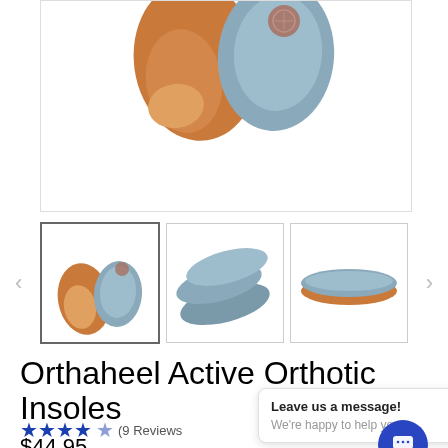[Figure (photo): Main product image showing two orthotic insoles (tan/orange and blue/grey) viewed from top, partially visible at top of page]
[Figure (photo): Thumbnail 1 (selected/active): Two insoles side by side, top view, blue-grey and orange]
[Figure (photo): Thumbnail 2: Two insoles side by side at angle, blue-grey color]
[Figure (photo): Thumbnail 3: Single insole side view, blue-grey top with tan bottom]
Orthaheel Active Orthotic Insoles
★★★★★ (9 Reviews)
$44.95
Leave us a message! We're happy to help you!